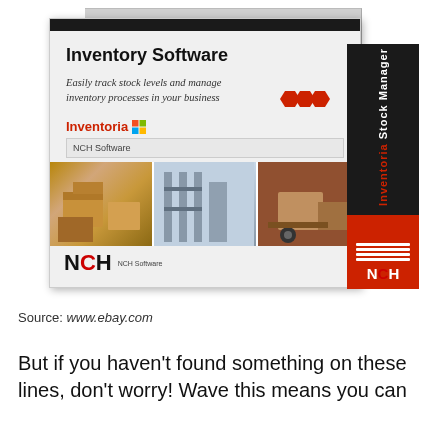[Figure (photo): Product box of Inventoria Stock Manager inventory software by NCH Software. Box shows title 'Inventory Software', subtitle 'Easily track stock levels and manage inventory processes in your business', Inventoria brand logo with red hexagons, NCH Software branding, photos of boxes/warehouse/delivery on lower half, and NCH logo at bottom.]
Source: www.ebay.com
But if you haven't found something on these lines, don't worry! Wave this means you can